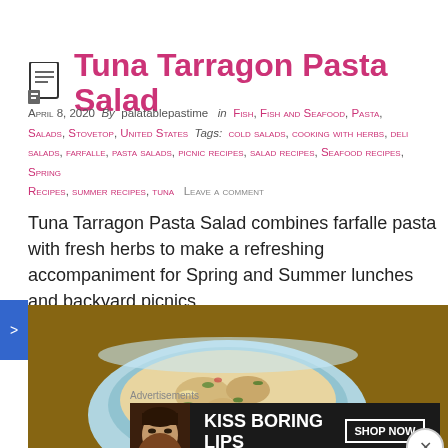Tuna Tarragon Pasta Salad
April 8, 2020  By  palatablepastime  in Fish, Fish and Seafood, Pasta, Salads, Stovetop, United States  Tags: cold salads, cooking with herbs, deli salads, farfalle, pasta salads, picnic recipes, salad recipes, Seafood recipes, Spring Recipes, summer recipes, tuna  Leave a comment
Tuna Tarragon Pasta Salad combines farfalle pasta with fresh herbs to make a refreshing accompaniment for Spring and Summer lunches and backyard picnics.
[Figure (photo): A light blue bowl filled with tuna tarragon pasta salad on a woven mat background]
Advertisements
[Figure (screenshot): Macy's advertisement: KISS BORING LIPS GOODBYE with SHOP NOW button and Macy's logo, featuring a woman's face with red lipstick]